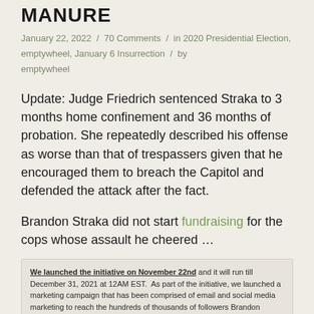MANURE
January 22, 2022 / 70 Comments / in 2020 Presidential Election, emptywheel, January 6 Insurrection / by emptywheel
Update: Judge Friedrich sentenced Straka to 3 months home confinement and 36 months of probation. She repeatedly described his offense as worse than that of trespassers given that he encouraged them to breach the Capitol and defended the attack after the fact.
Brandon Straka did not start fundraising for the cops whose assault he cheered …
We launched the initiative on November 22nd and it will run till December 31, 2021 at 12AM EST. As part of the initiative, we launched a marketing campaign that has been comprised of email and social media marketing to reach the hundreds of thousands of followers Brandon Straka has. These efforts will continue through December 31st and to date, we've raised $15,873.87, of which, $11,905.40 is earmarked for donation.